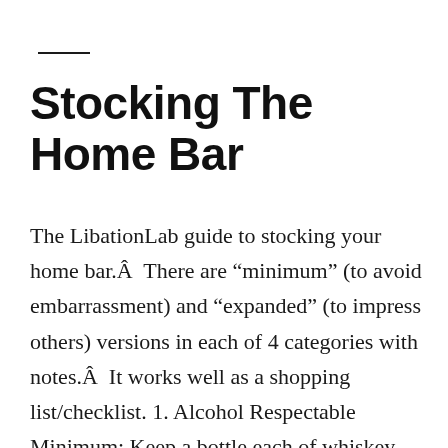Stocking The Home Bar
The LibationLab guide to stocking your home bar.Â  There are “minimum” (to avoid embarrassment) and “expanded” (to impress others) versions in each of 4 categories with notes.Â  It works well as a shopping list/checklist. 1. Alcohol Respectable Minimum: Keep a bottle each of whiskey,